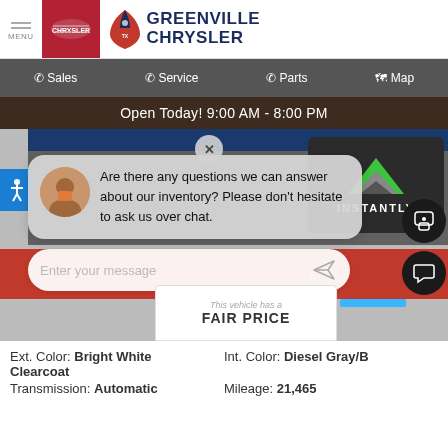MENU | Chrysler Logo | GREENVILLE CHRYSLER
Sales | Service | Parts | Map
Open Today! 9:00 AM - 8:00 PM
[Figure (screenshot): Chat overlay with agent avatar and message: Are there any questions we can answer about our inventory? Please don't hesitate to ask us over chat. Input field: Enter your message. INSTANTLY widget visible. Close X button. Fair price badge. Accessibility button.]
Ext. Color: Bright White Clearcoat
Int. Color: Diesel Gray/B
Transmission: Automatic
Mileage: 21,465